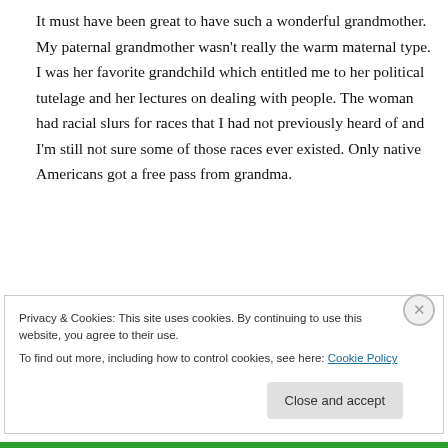It must have been great to have such a wonderful grandmother. My paternal grandmother wasn't really the warm maternal type. I was her favorite grandchild which entitled me to her political tutelage and her lectures on dealing with people. The woman had racial slurs for races that I had not previously heard of and I'm still not sure some of those races ever existed. Only native Americans got a free pass from grandma.
Privacy & Cookies: This site uses cookies. By continuing to use this website, you agree to their use.
To find out more, including how to control cookies, see here: Cookie Policy